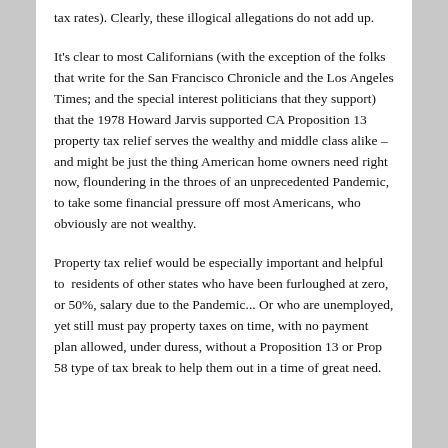tax rates). Clearly, these illogical allegations do not add up.
It's clear to most Californians (with the exception of the folks that write for the San Francisco Chronicle and the Los Angeles Times; and the special interest politicians that they support) that the 1978 Howard Jarvis supported CA Proposition 13 property tax relief serves the wealthy and middle class alike – and might be just the thing American home owners need right now, floundering in the throes of an unprecedented Pandemic, to take some financial pressure off most Americans, who obviously are not wealthy.
Property tax relief would be especially important and helpful to residents of other states who have been furloughed at zero, or 50%, salary due to the Pandemic... Or who are unemployed, yet still must pay property taxes on time, with no payment plan allowed, under duress, without a Proposition 13 or Prop 58 type of tax break to help them out in a time of great need.